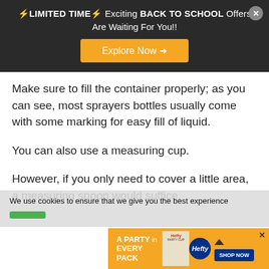[Figure (screenshot): Dark promotional banner: '⚡LIMITED TIME⚡ Exciting BACK TO SCHOOL Offers Are Waiting For You!! Explore Now →' with a close (×) button, orange explore button.]
Make sure to fill the container properly; as you can see, most sprayers bottles usually come with some marking for easy fill of liquid.
You can also use a measuring cup.
However, if you only need to cover a little area, a measuring spoon would suffice.
We use cookies to ensure that we give you the best experience
[Figure (screenshot): Orange advertisement banner at bottom: 'A PARTY in EVERY PACK' with Hefty logo, cups image, and SHOP NOW button.]